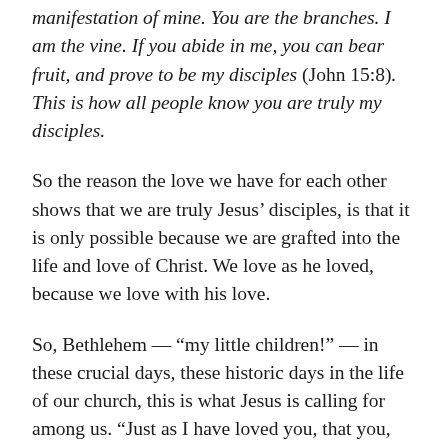manifestation of mine. You are the branches. I am the vine. If you abide in me, you can bear fruit, and prove to be my disciples (John 15:8). This is how all people know you are truly my disciples.
So the reason the love we have for each other shows that we are truly Jesus’ disciples, is that it is only possible because we are grafted into the life and love of Christ. We love as he loved, because we love with his love.
So, Bethlehem — “my little children!” — in these crucial days, these historic days in the life of our church, this is what Jesus is calling for among us. “Just as I have loved you, that you, Bethlehem, love one another.” Go low in foot-washing-like